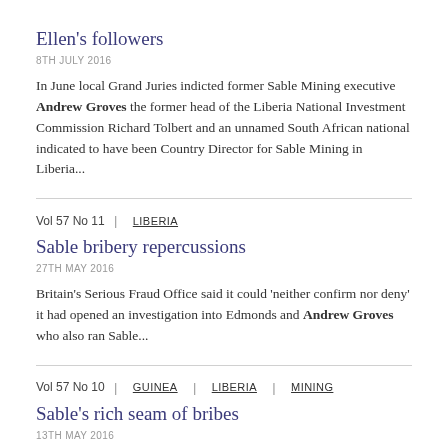Ellen's followers
8TH JULY 2016
In June local Grand Juries indicted former Sable Mining executive Andrew Groves the former head of the Liberia National Investment Commission Richard Tolbert and an unnamed South African national indicated to have been Country Director for Sable Mining in Liberia...
Vol 57 No 11 | LIBERIA
Sable bribery repercussions
27TH MAY 2016
Britain's Serious Fraud Office said it could 'neither confirm nor deny' it had opened an investigation into Edmonds and Andrew Groves who also ran Sable...
Vol 57 No 10 | GUINEA | LIBERIA | MINING
Sable's rich seam of bribes
13TH MAY 2016